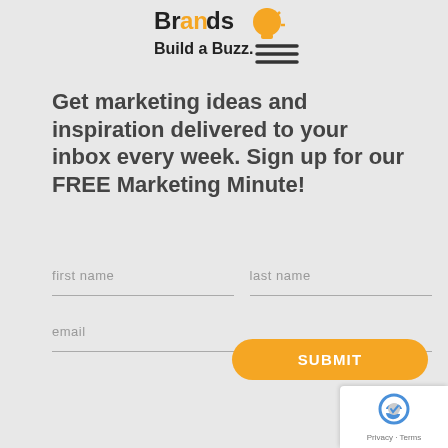[Figure (logo): Brands Build a Buzz logo with orange lightbulb icon and hamburger menu lines]
Get marketing ideas and inspiration delivered to your inbox every week. Sign up for our FREE Marketing Minute!
first name
last name
email
SUBMIT
[Figure (logo): Google reCAPTCHA badge with Privacy and Terms links]